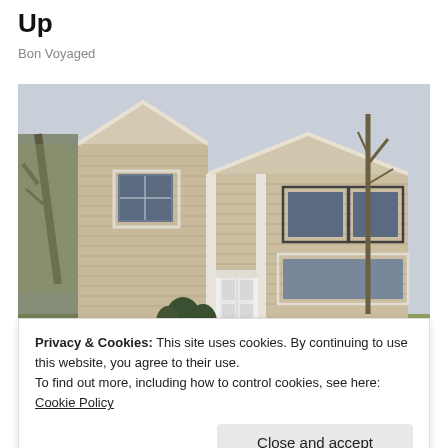Up
Bon Voyaged
[Figure (photo): Two-story beige/tan colonial house with white columns and front door, surrounded by trees with bare branches in spring, with green shrubs at base.]
Privacy & Cookies: This site uses cookies. By continuing to use this website, you agree to their use.
To find out more, including how to control cookies, see here: Cookie Policy
Close and accept
BuzzFond